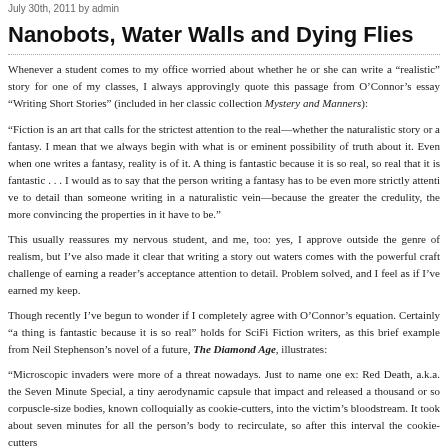July 30th, 2011 by admin
Nanobots, Water Walls and Dying Flies
Whenever a student comes to my office worried about whether he or she can write a "realistic" story for one of my classes, I always approvingly quote this passage from O'Connor's essay "Writing Short Stories" (included in her classic collection Mystery and Manners):
“Fiction is an art that calls for the strictest attention to the real—whether the writer is writing a naturalistic story or a fantasy. I mean that we always begin with what is or could be the eminent possibility of truth about it. Even when one writes a fantasy, reality is the proper basis of it. A thing is fantastic because it is so real, so real that it is fantastic . . . I would even go so far as to say that the person writing a fantasy has to be even more strictly attentive to the concrete detail than someone writing in a naturalistic vein—because the greater the departure from credulity, the more convincing the properties in it have to be.”
This usually reassures my nervous student, and me, too: yes, I approve of stories that venture outside the genre of realism, but I’ve also made it clear that writing a story outside the realistic waters comes with the powerful craft challenge of earning a reader’s acceptance through careful attention to detail. Problem solved, and I feel as if I’ve earned my keep.
Though recently I’ve begun to wonder if I completely agree with O’Connor’s side of the equation. Certainly “a thing is fantastic because it is so real” holds for Science Fiction writers, as this brief example from Neil Stephenson’s novel of a near-future, The Diamond Age, illustrates:
“Microscopic invaders were more of a threat nowadays. Just to name one example: the Red Death, a.k.a. the Seven Minute Special, a tiny aerodynamic capsule that shattered on impact and released a thousand or so corpuscle-size bodies, known colloquially as cookie-cutters, into the victim’s bloodstream. It took about seven minutes for all the blood in a person’s body to recirculate, so after this interval the cookie-cutters